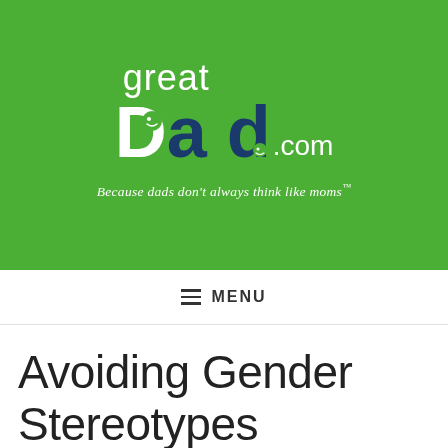[Figure (logo): greatDad.com logo on green background with tagline 'Because dads don't always think like moms™']
≡  MENU
Avoiding Gender Stereotypes